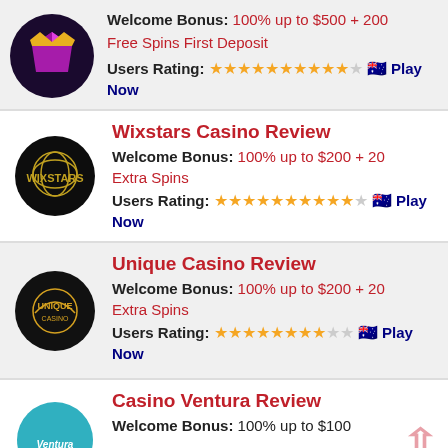Welcome Bonus: 100% up to $500 + 200 Free Spins First Deposit
Users Rating: ★★★★★★★★★★☆ 🇦🇺 Play Now
Wixstars Casino Review
Welcome Bonus: 100% up to $200 + 20 Extra Spins
Users Rating: ★★★★★★★★★★☆ 🇦🇺 Play Now
Unique Casino Review
Welcome Bonus: 100% up to $200 + 20 Extra Spins
Users Rating: ★★★★★★★★☆☆ 🇦🇺 Play Now
Casino Ventura Review
Welcome Bonus: 100% up to $100